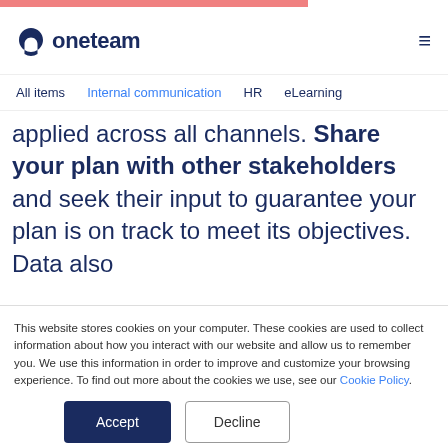[Figure (logo): Oneteam logo with stylized circular icon and text 'oneteam' in dark navy]
All items   Internal communication   HR   eLearning
applied across all channels. Share your plan with other stakeholders and seek their input to guarantee your plan is on track to meet its objectives. Data also
This website stores cookies on your computer. These cookies are used to collect information about how you interact with our website and allow us to remember you. We use this information in order to improve and customize your browsing experience. To find out more about the cookies we use, see our Cookie Policy.
Accept | Decline